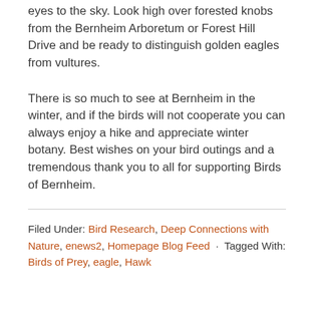eyes to the sky. Look high over forested knobs from the Bernheim Arboretum or Forest Hill Drive and be ready to distinguish golden eagles from vultures.
There is so much to see at Bernheim in the winter, and if the birds will not cooperate you can always enjoy a hike and appreciate winter botany. Best wishes on your bird outings and a tremendous thank you to all for supporting Birds of Bernheim.
Filed Under: Bird Research, Deep Connections with Nature, enews2, Homepage Blog Feed · Tagged With: Birds of Prey, eagle, Hawk